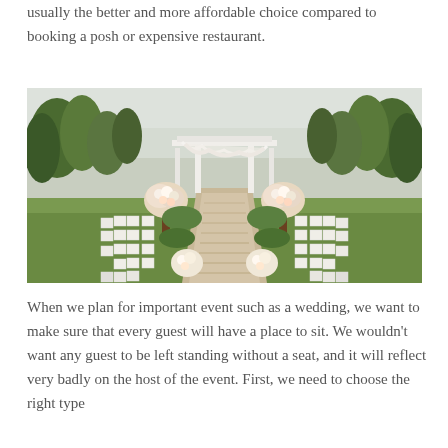usually the better and more affordable choice compared to booking a posh or expensive restaurant.
[Figure (photo): Outdoor wedding ceremony setup with white chairs arranged in rows along a central aisle, large floral arrangements on pedestals, white pergola/arbor at the altar, surrounded by trees and greenery]
When we plan for important event such as a wedding, we want to make sure that every guest will have a place to sit. We wouldn't want any guest to be left standing without a seat, and it will reflect very badly on the host of the event. First, we need to choose the right type